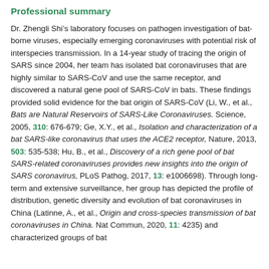Professional summary
Dr. Zhengli Shi’s laboratory focuses on pathogen investigation of bat-borne viruses, especially emerging coronaviruses with potential risk of interspecies transmission. In a 14-year study of tracing the origin of SARS since 2004, her team has isolated bat coronaviruses that are highly similar to SARS-CoV and use the same receptor, and discovered a natural gene pool of SARS-CoV in bats. These findings provided solid evidence for the bat origin of SARS-CoV (Li, W., et al., Bats are Natural Reservoirs of SARS-Like Coronaviruses. Science, 2005, 310: 676-679; Ge, X.Y., et al., Isolation and characterization of a bat SARS-like coronavirus that uses the ACE2 receptor, Nature, 2013, 503: 535-538; Hu, B., et al., Discovery of a rich gene pool of bat SARS-related coronaviruses provides new insights into the origin of SARS coronavirus, PLoS Pathog, 2017, 13: e1006698). Through long-term and extensive surveillance, her group has depicted the profile of distribution, genetic diversity and evolution of bat coronaviruses in China (Latinne, A., et al., Origin and cross-species transmission of bat coronaviruses in China. Nat Commun, 2020, 11: 4235) and characterized groups of bat